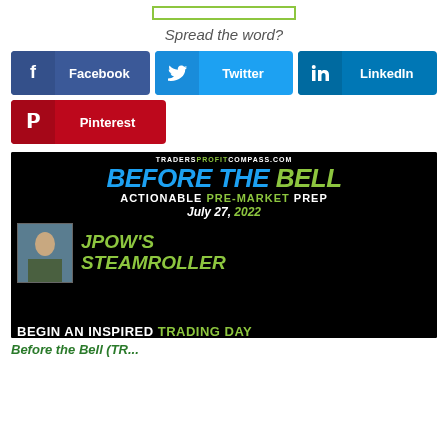Spread the word?
Facebook
Twitter
LinkedIn
Pinterest
[Figure (screenshot): Before the Bell promotional image for Traders Profit Compass showing 'BEFORE THE BELL - ACTIONABLE PRE-MARKET PREP - July 27, 2022 - JPOW'S STEAMROLLER - BEGIN AN INSPIRED TRADING DAY']
Before the Bell (TR...